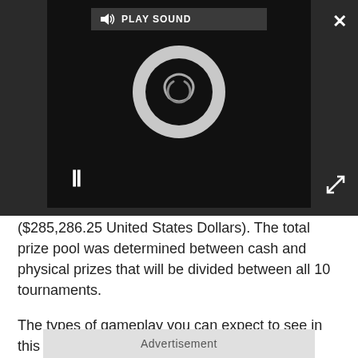[Figure (screenshot): Video player with dark background showing a loading/spinner circle, pause button, play sound bar, close button (X), and expand button.]
($285,286.25 United States Dollars). The total prize pool was determined between cash and physical prizes that will be divided between all 10 tournaments.
The types of gameplay you can expect to see in this Gaming League are 3 vs 3 modes with interesting game elements added specifically for the challenge. We should expect to hear more from GIANTS software soon so make sure you stay tuned!
Advertisement